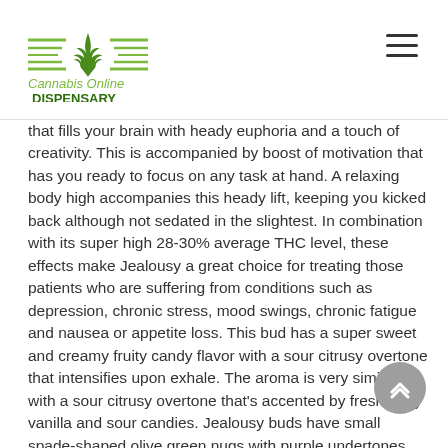Cannabis Online Dispensary
that fills your brain with heady euphoria and a touch of creativity. This is accompanied by boost of motivation that has you ready to focus on any task at hand. A relaxing body high accompanies this heady lift, keeping you kicked back although not sedated in the slightest. In combination with its super high 28-30% average THC level, these effects make Jealousy a great choice for treating those patients who are suffering from conditions such as depression, chronic stress, mood swings, chronic fatigue and nausea or appetite loss. This bud has a super sweet and creamy fruity candy flavor with a sour citrusy overtone that intensifies upon exhale. The aroma is very similar, with a sour citrusy overtone that's accented by fresh fruity vanilla and sour candies. Jealousy buds have small spade-shaped olive green nugs with purple undertones, thin orange hairs and a coating of tiny and purple-tinted white crystal trichomes.
Although potent, spacy and heavy on the eyes, this Gelato #41 and